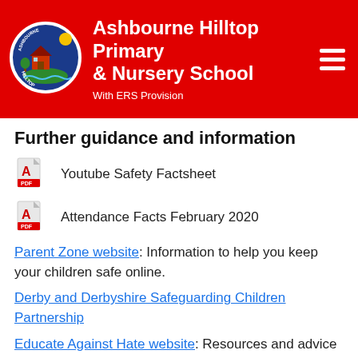Ashbourne Hilltop Primary & Nursery School — With ERS Provision
Further guidance and information
Youtube Safety Factsheet
Attendance Facts February 2020
Parent Zone website: Information to help you keep your children safe online.
Derby and Derbyshire Safeguarding Children Partnership
Educate Against Hate website: Resources and advice to